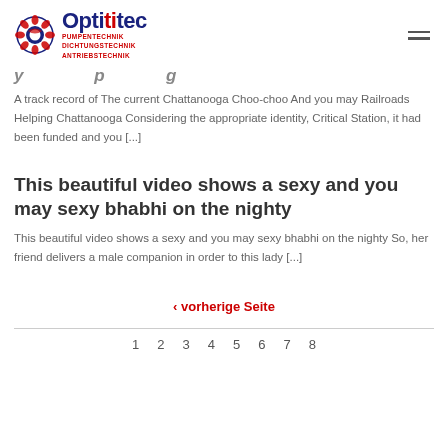Optitec – PUMPENTECHNIK DICHTUNGSTECHNIK ANTRIEBSTECHNIK
A track record of The current Chattanooga Choo-choo And you may Railroads Helping Chattanooga Considering the appropriate identity, Critical Station, it had been funded and you [...]
This beautiful video shows a sexy and you may sexy bhabhi on the nighty
This beautiful video shows a sexy and you may sexy bhabhi on the nighty So, her friend delivers a male companion in order to this lady [...]
‹ vorherige Seite
1  2  3  4  5  6  7  8